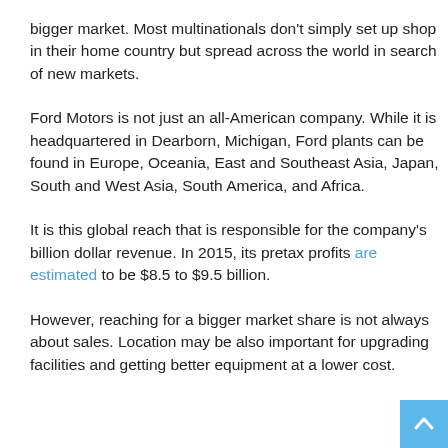bigger market. Most multinationals don't simply set up shop in their home country but spread across the world in search of new markets.
Ford Motors is not just an all-American company. While it is headquartered in Dearborn, Michigan, Ford plants can be found in Europe, Oceania, East and Southeast Asia, Japan, South and West Asia, South America, and Africa.
It is this global reach that is responsible for the company's billion dollar revenue. In 2015, its pretax profits are estimated to be $8.5 to $9.5 billion.
However, reaching for a bigger market share is not always about sales. Location may be also important for upgrading facilities and getting better equipment at a lower cost.